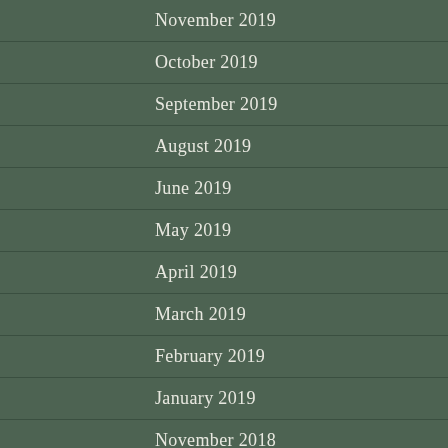November 2019
October 2019
September 2019
August 2019
June 2019
May 2019
April 2019
March 2019
February 2019
January 2019
November 2018